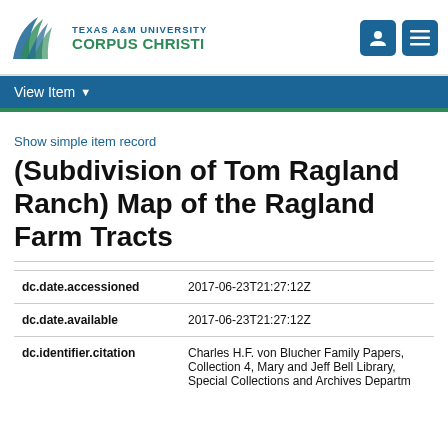Texas A&M University Corpus Christi
View Item
Show simple item record
(Subdivision of Tom Ragland Ranch) Map of the Ragland Farm Tracts
| Field | Value |
| --- | --- |
| dc.date.accessioned | 2017-06-23T21:27:12Z |
| dc.date.available | 2017-06-23T21:27:12Z |
| dc.identifier.citation | Charles H.F. von Blucher Family Papers, Collection 4, Mary and Jeff Bell Library, Special Collections and Archives Departm |